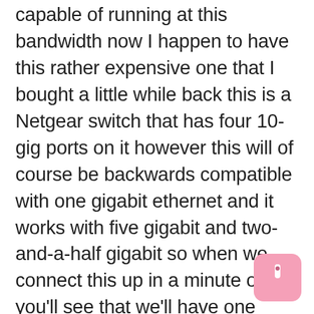capable of running at this bandwidth now I happen to have this rather expensive one that I bought a little while back this is a Netgear switch that has four 10-gig ports on it however this will of course be backwards compatible with one gigabit ethernet and it works with five gigabit and two-and-a-half gigabit so when we connect this up in a minute or two you'll see that we'll have one green light on the right-hand side when we're connected to the switch but if you plug this into any other gigabit ethernet switch it's only going to run at one gigabit now the question is who needs these things if we're all running on the slower internet connections well a lot of folks now are getting gigabit fiber Ethernet connections from their ISPs and you can easily saturate that full gig and maybe not get your full performance out of it something like this would allow you to get better performance out of those high-speed fiber connections especially the ones that go north of one gigabit if you're transferring large files throughout your home or office you'll be able to transfer them twice as fast through a single adapter again provided you're hooked up to the